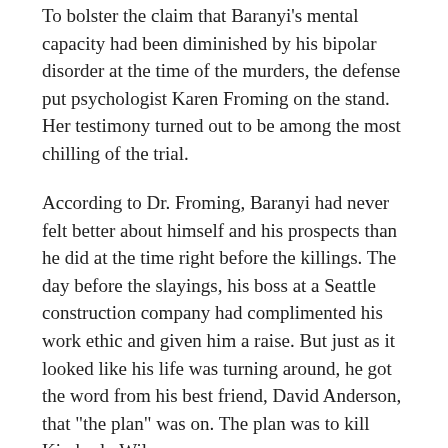To bolster the claim that Baranyi's mental capacity had been diminished by his bipolar disorder at the time of the murders, the defense put psychologist Karen Froming on the stand. Her testimony turned out to be among the most chilling of the trial.
According to Dr. Froming, Baranyi had never felt better about himself and his prospects than he did at the time right before the killings. The day before the slayings, his boss at a Seattle construction company had complimented his work ethic and given him a raise. But just as it looked like his life was turning around, he got the word from his best friend, David Anderson, that "the plan" was on. The plan was to kill Kimberly Wilson.
According to Froming, Baranyi had been in a deep depression for months and had told his mother that he was considering suicide. He